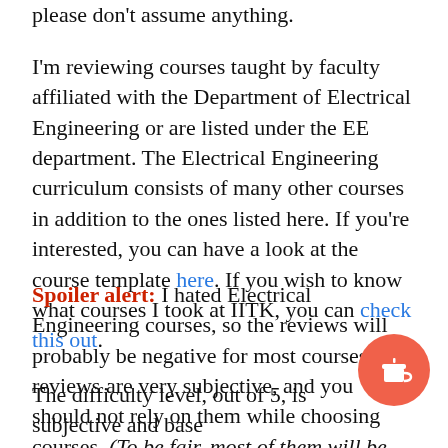please don't assume anything.
I'm reviewing courses taught by faculty affiliated with the Department of Electrical Engineering or are listed under the EE department. The Electrical Engineering curriculum consists of many other courses in addition to the ones listed here. If you're interested, you can have a look at the course template here. If you wish to know what courses I took at IITK, you can check this out.
Spoiler alert: I hated Electrical Engineering courses, so the reviews will probably be negative for most courses. The reviews are very subjective, and you should not rely on them while choosing courses. (To be fair, most of them will be just thrown at you. You'll have no choice.)
The difficulty level, out of 5, is subjective and based on my impression of the material and the professor. 1 represents a straightforward course, while 5 represents a very challenging course.